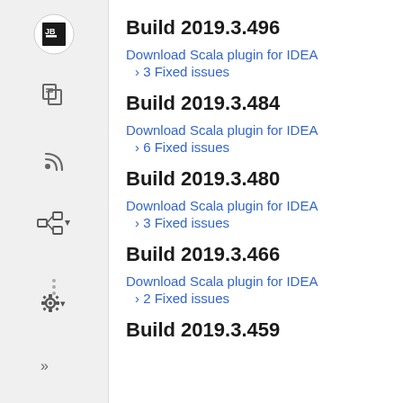[Figure (screenshot): Left sidebar with navigation icons: JetBrains logo, document icon, RSS feed icon, hierarchy icon with dropdown, vertical dots, gear/settings icon with dropdown, and double arrow icon at bottom.]
Build 2019.3.496
Download Scala plugin for IDEA
3 Fixed issues
Build 2019.3.484
Download Scala plugin for IDEA
6 Fixed issues
Build 2019.3.480
Download Scala plugin for IDEA
3 Fixed issues
Build 2019.3.466
Download Scala plugin for IDEA
2 Fixed issues
Build 2019.3.459